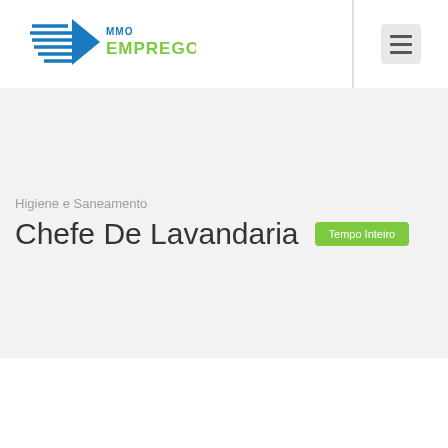[Figure (logo): MMO Emprego logo with blue horizontal lines graphic and green EMPREGO text]
Higiene e Saneamento
Chefe De Lavandaria
Tempo Inteiro